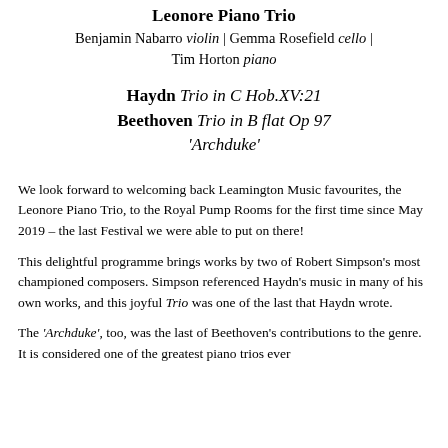Leonore Piano Trio
Benjamin Nabarro violin | Gemma Rosefield cello | Tim Horton piano
Haydn Trio in C Hob.XV:21
Beethoven Trio in B flat Op 97 'Archduke'
We look forward to welcoming back Leamington Music favourites, the Leonore Piano Trio, to the Royal Pump Rooms for the first time since May 2019 – the last Festival we were able to put on there!
This delightful programme brings works by two of Robert Simpson's most championed composers. Simpson referenced Haydn's music in many of his own works, and this joyful Trio was one of the last that Haydn wrote.
The 'Archduke', too, was the last of Beethoven's contributions to the genre. It is considered one of the greatest piano trios ever written.